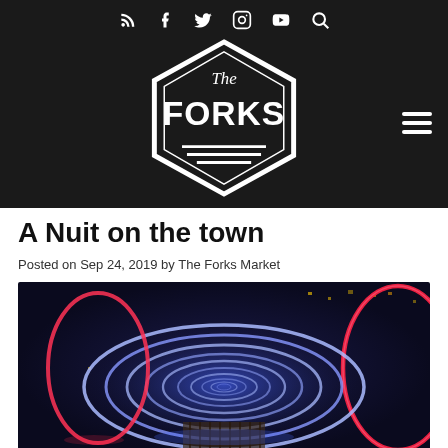Social icons: RSS, Facebook, Twitter, Instagram, YouTube, Search
[Figure (logo): The Forks logo — hexagonal badge with 'The Forks' text in bold white on dark background]
A Nuit on the town
Posted on Sep 24, 2019 by The Forks Market
[Figure (photo): Night photograph of illuminated circular neon ring art installation — concentric blue and red glowing circles forming a tunnel perspective, set outdoors at night]